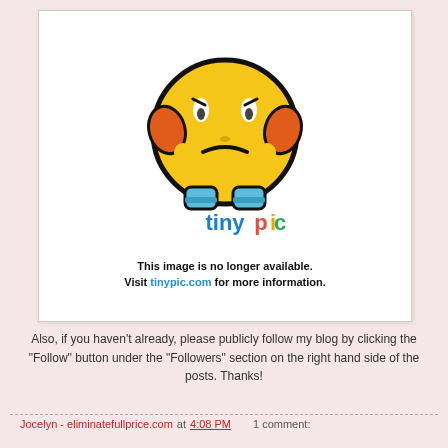[Figure (illustration): Tinypic placeholder image showing a sad yellow emoji face with hands on cheeks, and the colorful Tinypic logo below. Text reads: 'This image is no longer available. Visit tinypic.com for more information.']
Also, if you haven't already, please publicly follow my blog by clicking the "Follow" button under the "Followers" section on the right hand side of the posts. Thanks!
Jocelyn - eliminatefullprice.com at 4:08 PM    1 comment: